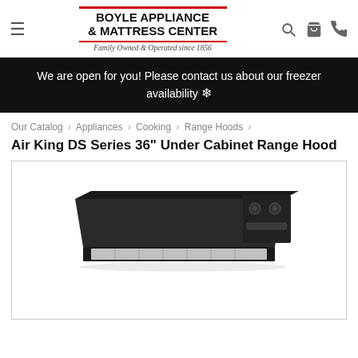Boyle Appliance & Mattress Center — Family Owned & Operated since 1856
We are open for you! Please contact us about our freezer availability ❄
Our Catalog › Appliances › Cooking › Range Hoods ›
Air King DS Series 36" Under Cabinet Range Hood
[Figure (photo): Black under-cabinet range hood (Air King DS Series 36 inch) shown at an angle against white background]